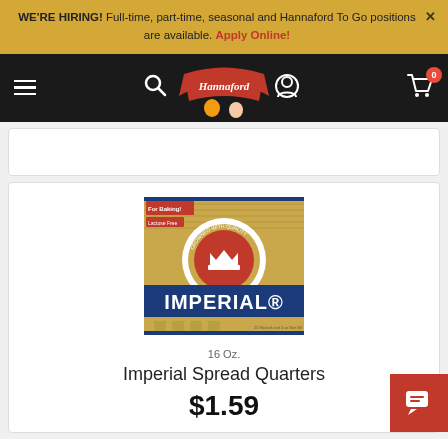WE'RE HIRING! Full-time, part-time, seasonal and Hannaford To Go positions are available. Apply Online!
[Figure (logo): Hannaford supermarket logo with fruit imagery and red banner]
[Figure (photo): Imperial Spread Quarters butter/margarine product box - gold box with red crown logo and blue Imperial branding, 16 oz]
16 Oz.
Imperial Spread Quarters
$1.59